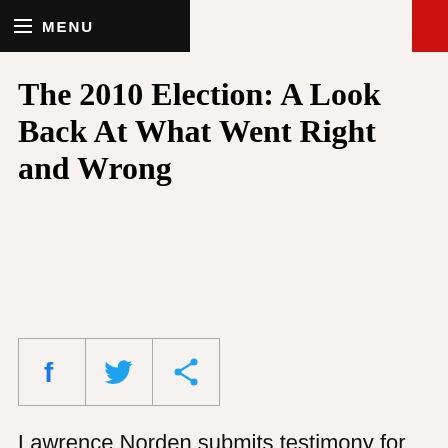MENU
The 2010 Election: A Look Back At What Went Right and Wrong
[Figure (infographic): Social sharing buttons: Facebook, Twitter, Share icons in a bordered box]
Lawrence Norden submits testimony for the Committee on House Administration's hearing “The 2010 Election: A Look at What Went Right and Wrong.” Mr. Norden’s testimony focused on the need